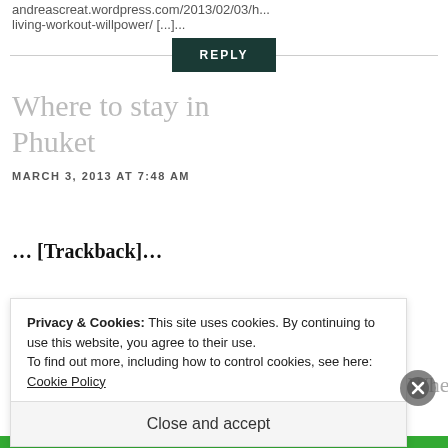andreascreat.wordpress.com/2013/02/03/h... living-workout-willpower/ [...]...
REPLY
Where to stay in Phuket
MARCH 3, 2013 AT 7:48 AM
… [Trackback]…
Privacy & Cookies: This site uses cookies. By continuing to use this website, you agree to their use.
To find out more, including how to control cookies, see here: Cookie Policy
Close and accept